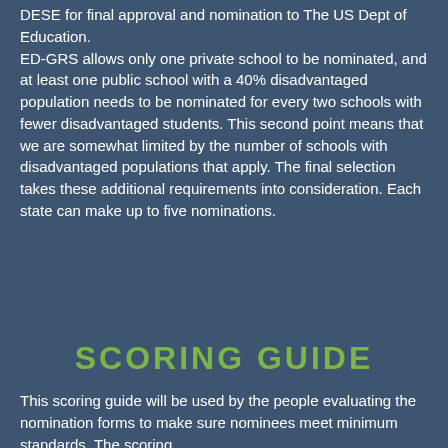DESE for final approval and nomination to The US Dept of Education. ED-GRS allows only one private school to be nominated, and at least one public school with a 40% disadvantaged population needs to be nominated for every two schools with fewer disadvantaged students. This second point means that we are somewhat limited by the number of schools with disadvantaged populations that apply. The final selection takes these additional requirements into consideration. Each state can make up to five nominations.
SCORING GUIDE
This scoring guide will be used by the people evaluating the nomination forms to make sure nominees meet minimum standards. The scoring